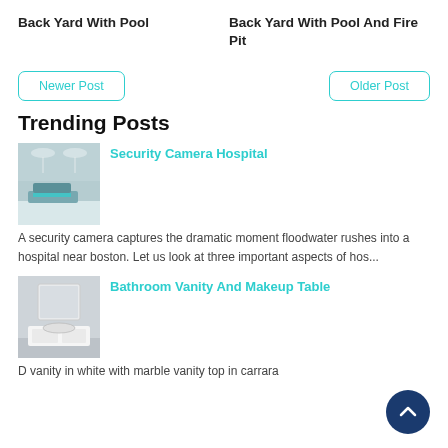Back Yard With Pool
Back Yard With Pool And Fire Pit
Newer Post
Older Post
Trending Posts
[Figure (photo): Hospital operating room or medical room interior]
Security Camera Hospital
A security camera captures the dramatic moment floodwater rushes into a hospital near boston. Let us look at three important aspects of hos...
[Figure (photo): Bathroom vanity with white cabinetry]
Bathroom Vanity And Makeup Table
D vanity in white with marble vanity top in carrara